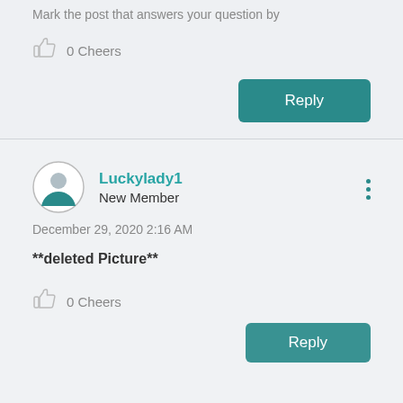Mark the post that answers your question by
0 Cheers
Reply
Luckylady1
New Member
December 29, 2020 2:16 AM
**deleted Picture**
0 Cheers